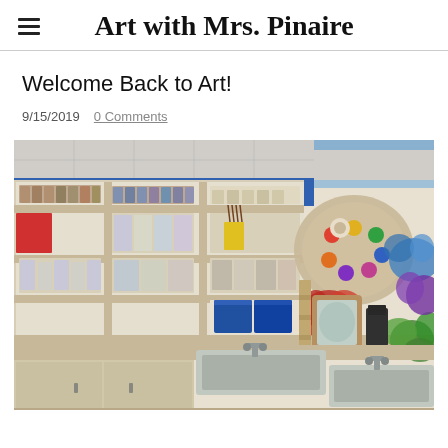Art with Mrs. Pinaire
Welcome Back to Art!
9/15/2019   0 Comments
[Figure (photo): Interior of an art classroom showing shelves stocked with art supplies including paint cans, brushes, containers, and bins. On the right wall are colorful painted artwork displays including a large paint palette, paint blob shapes in blue, green, red, and purple. A sink with two basins is visible at the bottom, with wooden cabinets beneath. The ceiling has drop tiles.]